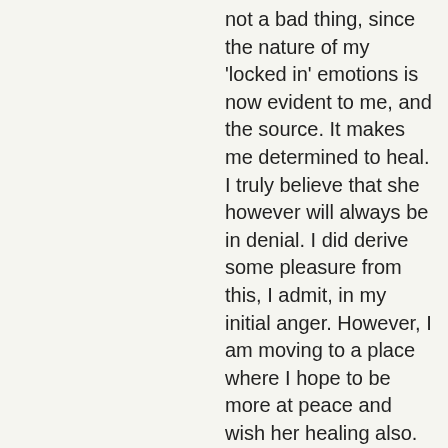not a bad thing, since the nature of my 'locked in' emotions is now evident to me, and the source.  It makes me determined to heal.  I truly believe that she however will always be in denial.  I did derive some pleasure from this, I admit, in my initial anger.  However, I am moving to a place where I hope to be more at peace and wish her healing also.
Logged
Travis
Re: POLL: Break-up/make-up cycles
« Reply #27 on: December 25, 2010, 09:49:31 AM »
Offline
Gender: ♂ What is your sexual orientation:
Great topic.  In my three and a half